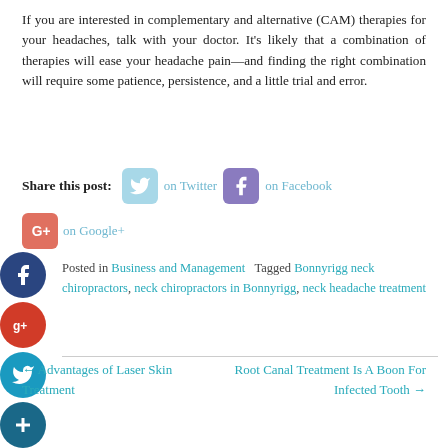If you are interested in complementary and alternative (CAM) therapies for your headaches, talk with your doctor. It's likely that a combination of therapies will ease your headache pain—and finding the right combination will require some patience, persistence, and a little trial and error.
Share this post: on Twitter on Facebook on Google+
Posted in Business and Management   Tagged Bonnyrigg neck chiropractors, neck chiropractors in Bonnyrigg, neck headache treatment
← Advantages of Laser Skin Treatment
Root Canal Treatment Is A Boon For Infected Tooth →